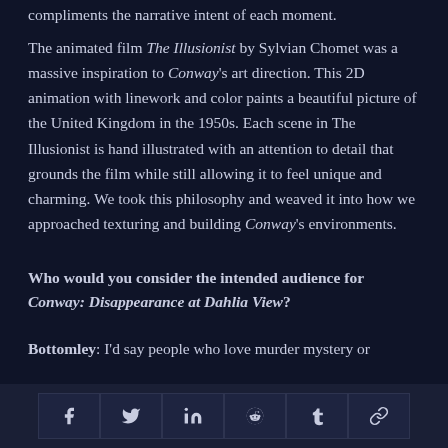compliments the narrative intent of each moment.
The animated film The Illusionist by Sylvian Chomet was a massive inspiration to Conway's art direction. This 2D animation with linework and color paints a beautiful picture of the United Kingdom in the 1950s. Each scene in The Illusionist is hand illustrated with an attention to detail that grounds the film while still allowing it to feel unique and charming. We took this philosophy and weaved it into how we approached texturing and building Conway's environments.
Who would you consider the intended audience for Conway: Disappearance at Dahlia View?
Bottomley: I'd say people who love murder mystery or
Share icons: Facebook, Twitter, LinkedIn, Reddit, Tumblr, Link